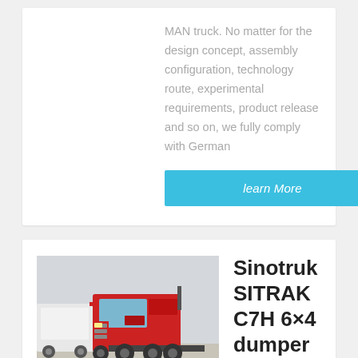MAN truck. No matter for the design concept, assembly configuration, technology route, experimental requirements, product release and so on, we fully comply with German
learn More
[Figure (photo): Red Sinotruk SITRAK C7H tractor truck parked in a lot, front-left view]
Sinotruk SITRAK C7H 6×4 dumper truck price
Sinotruk New Truck 6X4 380HP Sino Tractor Truck - News . Jul 06, 2018 : Specifications 1. engine: low fuel